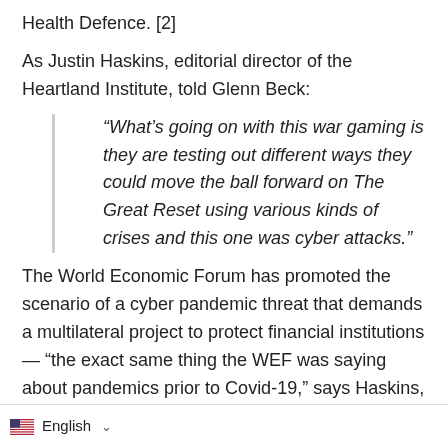Health Defence. [2]
As Justin Haskins, editorial director of the Heartland Institute, told Glenn Beck:
“What’s going on with this war gaming is they are testing out different ways they could move the ball forward on The Great Reset using various kinds of crises and this one was cyber attacks.”
The World Economic Forum has promoted the scenario of a cyber pandemic threat that demands a multilateral project to protect financial institutions — “the exact same thing the WEF was saying about pandemics prior to Covid-19,” says Haskins, co-author with Beck of The Great Reset: Joe Biden and the Rise of Global Socialism. [3]